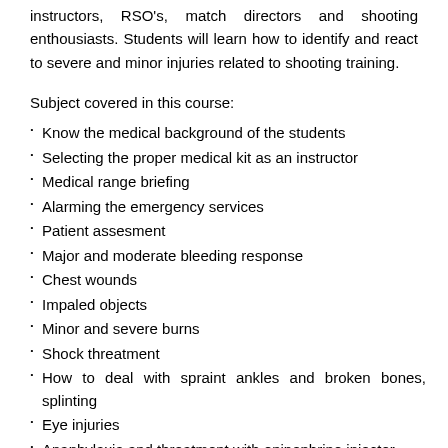instructors, RSO's, match directors and shooting enthousiasts. Students will learn how to identify and react to severe and minor injuries related to shooting training.
Subject covered in this course:
Know the medical background of the students
Selecting the proper medical kit as an instructor
Medical range briefing
Alarming the emergency services
Patient assesment
Major and moderate bleeding response
Chest wounds
Impaled objects
Minor and severe burns
Shock threatment
How to deal with spraint ankles and broken bones, splinting
Eye injuries
Anaphylaxia and threatment with epinephrine injector
Environmental emergencies